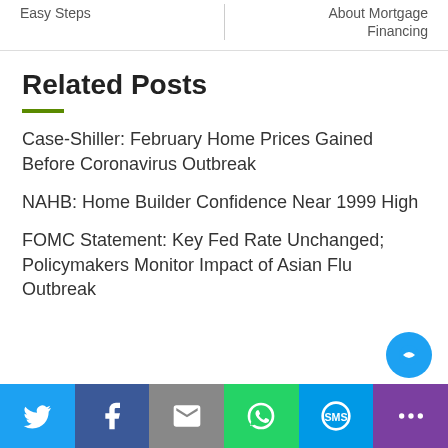Easy Steps
About Mortgage Financing
Related Posts
Case-Shiller: February Home Prices Gained Before Coronavirus Outbreak
NAHB: Home Builder Confidence Near 1999 High
FOMC Statement: Key Fed Rate Unchanged; Policymakers Monitor Impact of Asian Flu Outbreak
[Figure (infographic): Social sharing bar with Twitter, Facebook, Email, WhatsApp, SMS, and More buttons]